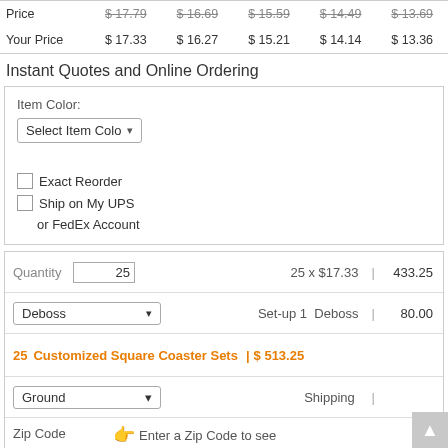|  | Col1 | Col2 | Col3 | Col4 | Col5 |
| --- | --- | --- | --- | --- | --- |
| Price | $17.79 | $16.69 | $15.59 | $14.49 | $13.69 |
| Your Price | $17.33 | $16.27 | $15.21 | $14.14 | $13.36 |
Instant Quotes and Online Ordering
Item Color:
Select Item Color
Exact Reorder
Ship on My UPS or FedEx Account
| Quantity | 25 | 25 x $17.33 | | | 433.25 |
| Deboss |  | Set-up 1  Deboss | | | 80.00 |
| 25  Customized Square Coaster Sets |  |  | | | $ 513.25 |
| Ground |  | Shipping | | |  |
| Zip Code |  | Enter a Zip Code to see Shipping and Tax | | |  |